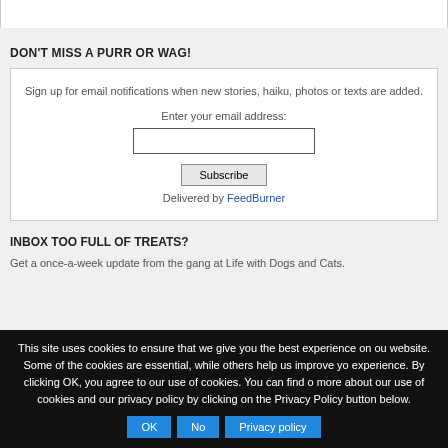DON'T MISS A PURR OR WAG!
Sign up for email notifications when new stories, haiku, photos or texts are added.

Enter your email address:

[email input field]

[Subscribe button]

Delivered by FeedBurner
INBOX TOO FULL OF TREATS?
Get a once-a-week update from the gang at Life with Dogs and Cats.
This site uses cookies to ensure that we give you the best experience on our website. Some of the cookies are essential, while others help us improve your experience. By clicking OK, you agree to our use of cookies. You can find out more about our use of cookies and our privacy policy by clicking on the Privacy Policy button below.